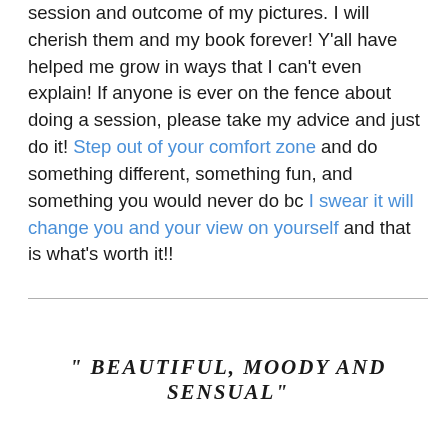session and outcome of my pictures. I will cherish them and my book forever! Y'all have helped me grow in ways that I can't even explain! If anyone is ever on the fence about doing a session, please take my advice and just do it! Step out of your comfort zone and do something different, something fun, and something you would never do bc I swear it will change you and your view on yourself and that is what's worth it!!
" BEAUTIFUL, MOODY AND SENSUAL"